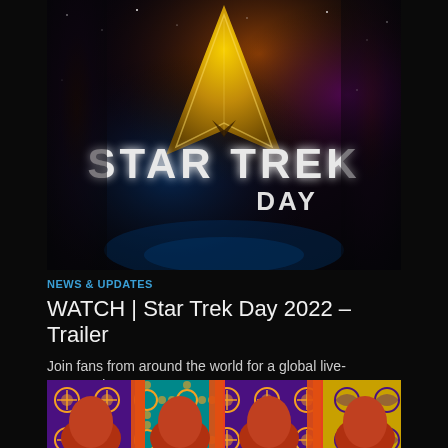[Figure (illustration): Star Trek Day promotional image with dark space background, gold Starfleet delta/chevron emblem, and stylized text reading STAR TREK DAY in silver/white letters against a cosmic background with nebula colors of orange, purple, and blue]
NEWS & UPDATES
WATCH | Star Trek Day 2022 – Trailer
Join fans from around the world for a global live-streamed S...
[Figure (illustration): Colorful graphic artwork showing stylized figures with ornate patterned backgrounds in orange, purple, teal, and yellow with decorative motifs]